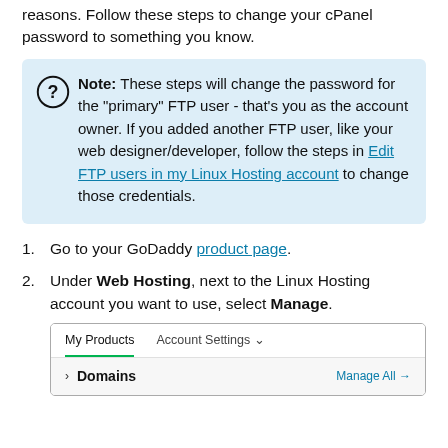reasons. Follow these steps to change your cPanel password to something you know.
Note: These steps will change the password for the "primary" FTP user - that's you as the account owner. If you added another FTP user, like your web designer/developer, follow the steps in Edit FTP users in my Linux Hosting account to change those credentials.
1. Go to your GoDaddy product page.
2. Under Web Hosting, next to the Linux Hosting account you want to use, select Manage.
[Figure (screenshot): GoDaddy product page screenshot showing My Products and Account Settings tabs, with a Domains section and Manage All link]